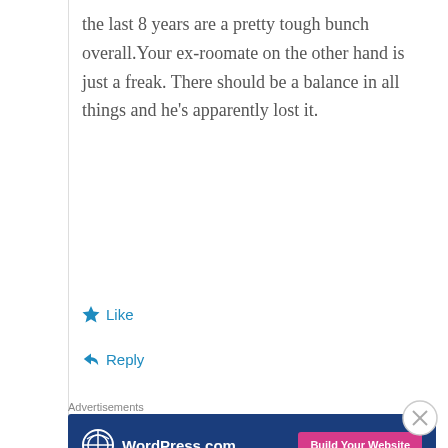the last 8 years are a pretty tough bunch overall.Your ex-roomate on the other hand is just a freak. There should be a balance in all things and he's apparently lost it.
Like
Reply
Advertisements
[Figure (other): WordPress.com advertisement banner with dark blue background, WordPress globe logo, text 'WordPress.com', and pink 'Build Your Website' button]
TC
August 21, 2009 at 13:17
Advertisements